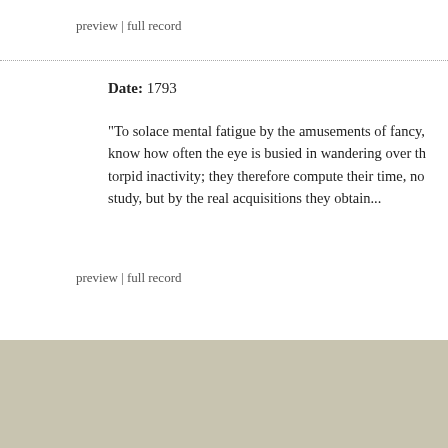preview | full record
Date: 1793
"To solace mental fatigue by the amusements of fancy, know how often the eye is busied in wandering over th torpid inactivity; they therefore compute their time, no study, but by the real acquisitions they obtain...
preview | full record
The Mind is a Metaphor is authored by Brad Pasanek, Assistant Professor of English, University of Virginia. This w Subscr